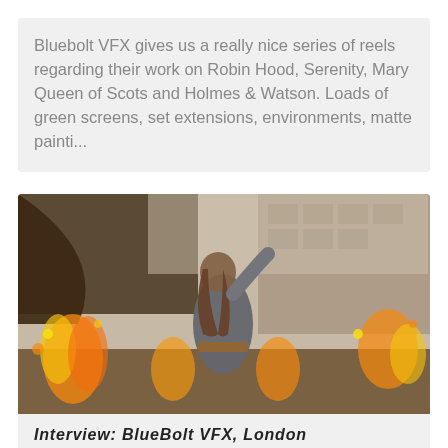Bluebolt VFX gives us a really nice series of reels regarding their work on Robin Hood, Serenity, Mary Queen of Scots and Holmes & Watson. Loads of green screens, set extensions, environments, matte painti...
[Figure (photo): A warrior figure in medieval armor standing amid fire and explosions, with castle walls in the background — a battle scene VFX shot.]
Interview: BlueBolt VFX, London
This time we take you to London and into the offices of Bluebolt VFX (interview with Alison Arnott). We have a chat about the